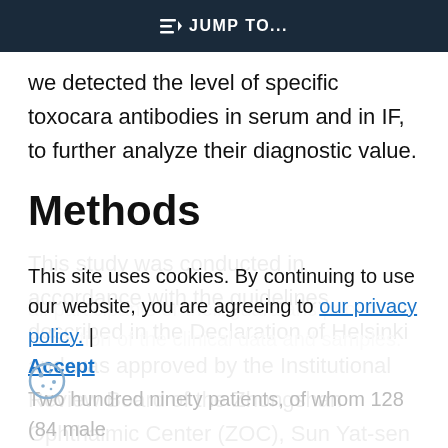JUMP TO...
we detected the level of specific toxocara antibodies in serum and in IF, to further analyze their diagnostic value.
Methods
This study was conducted in accordance with the guidelines described in the Declaration of Helsinki and was approved by the Institutional Review Board of the Zhongshan Ophthalmic Center (ZOC), Sun Yat-sen University. Informed consent was obtained from all participants or their guardians prior to the collection of the clinical data and samples.
This site uses cookies. By continuing to use our website, you are agreeing to our privacy policy. | Accept
Two hundred ninety patients, of whom 128 (84 male